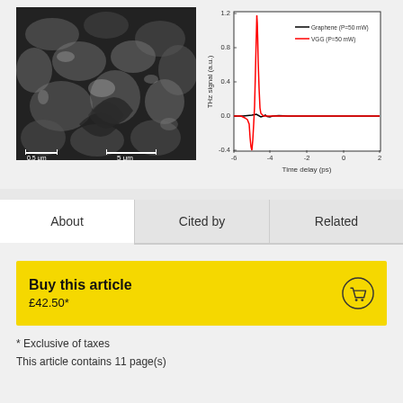[Figure (photo): SEM (scanning electron microscope) image of graphene material at two magnifications, showing 0.5 μm and 5 μm scale bars on a black and white micrograph of wrinkled/folded graphene structures.]
[Figure (line-chart): THz signal vs Time delay]
About
Cited by
Related
Buy this article
£42.50*
* Exclusive of taxes
This article contains 11 page(s)